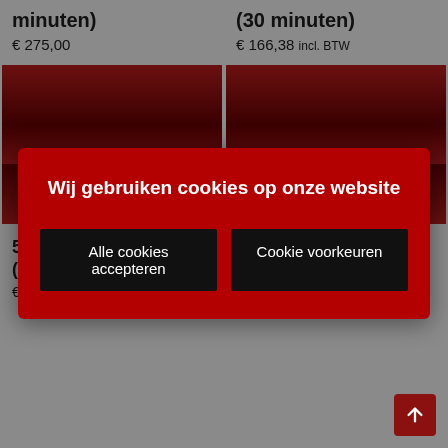minuten)
(30 minuten)
€ 275,00
€ 166,38 incl. BTW
[Figure (photo): Two dark red product card images side by side]
Wij gebruiken cookies op onze website
Alle cookies accepteren
Cookie voorkeuren
5-lessenkaart 21+ (45 minuten)
5-lessenkaart 21+ (60 minuten)
€ 249,56 incl. BTW
€ 332,75 incl. BTW